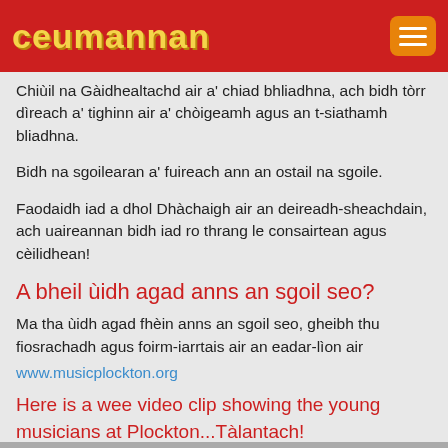ceumannan
Chiùil na Gàidhealtachd air a' chiad bhliadhna, ach bidh tòrr dìreach a' tighinn air a' chòigeamh agus an t-siathamh bliadhna.
Bidh na sgoilearan a' fuireach ann an ostail na sgoile.
Faodaidh iad a dhol Dhàchaigh air an deireadh-sheachdain, ach uaireannan bidh iad ro thrang le consairtean agus cèilidhean!
A bheil ùidh agad anns an sgoil seo?
Ma tha ùidh agad fhèin anns an sgoil seo, gheibh thu fiosrachadh agus foirm-iarrtais air an eadar-lìon air
www.musicplockton.org
Here is a wee video clip showing the young musicians at Plockton...Tàlantach!